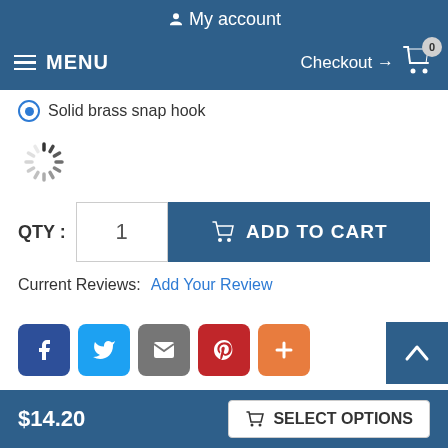My account
MENU  Checkout → 0
Solid brass snap hook
[Figure (other): Loading spinner icon]
QTY : 1  ADD TO CART
Current Reviews:  Add Your Review
[Figure (other): Social share buttons: Facebook, Twitter, Email, Pinterest, Plus]
$14.20  SELECT OPTIONS